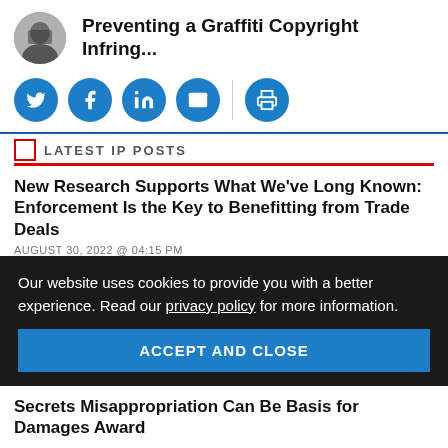Preventing a Graffiti Copyright Infring...
[Figure (infographic): Social sharing icons: Twitter, Facebook, LinkedIn, Email, Print]
LATEST IP POSTS
New Research Supports What We've Long Known: Enforcement Is the Key to Benefitting from Trade Deals
AUGUST 30, 2022 @ 04:15 PM
'Nothing Compares 2 U': SCOTUS to Determine What's Fair in Warhol v. Goldsmith
Our website uses cookies to provide you with a better experience. Read our privacy policy for more information.
ACCEPT AND CLOSE
Secrets Misappropriation Can Be Basis for Damages Award